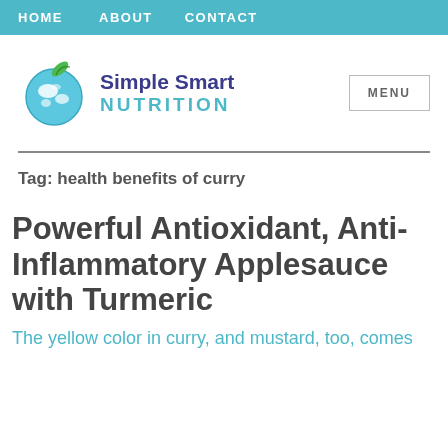HOME   ABOUT   CONTACT
[Figure (logo): Simple Smart Nutrition logo with globe and leaf icon]
MENU
Tag: health benefits of curry
Powerful Antioxidant, Anti-Inflammatory Applesauce with Turmeric
The yellow color in curry, and mustard, too, comes